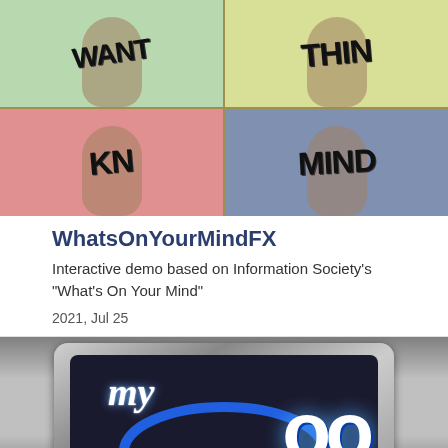[Figure (photo): A 2x2 grid collage of four people with colored boxes/bags over their heads with text written on them: WANT (top-left, green), THING (top-right, yellow-green), KN (bottom-left, pink), MINDS (bottom-right, blue). Background has yellow-green dotted pattern.]
WhatsOnYourMindFX
Interactive demo based on Information Society's "What's On Your Mind"
2021, Jul 25
[Figure (screenshot): A silver TV-style bezel with a dark screen showing a logo: 'My' in white italic script on the left, and large white bold letters 'oo' on the right, with a blue arc/ring design. The overall look resembles a retro My-something brand logo on a television screen.]